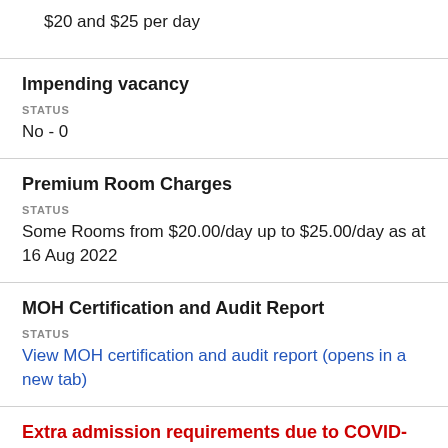$20 and $25 per day
Impending vacancy
STATUS
No - 0
Premium Room Charges
STATUS
Some Rooms from $20.00/day up to $25.00/day as at 16 Aug 2022
MOH Certification and Audit Report
STATUS
View MOH certification and audit report (opens in a new tab)
Extra admission requirements due to COVID-19
STATUS
Please enquire